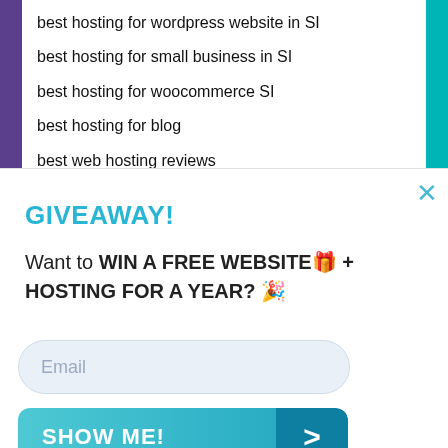best hosting for wordpress website in SI
best hosting for small business in SI
best hosting for woocommerce SI
best hosting for blog
best web hosting reviews
GIVEAWAY!
Want to WIN A FREE WEBSITE🎁 + HOSTING FOR A YEAR? 🎉
Email
SHOW ME!